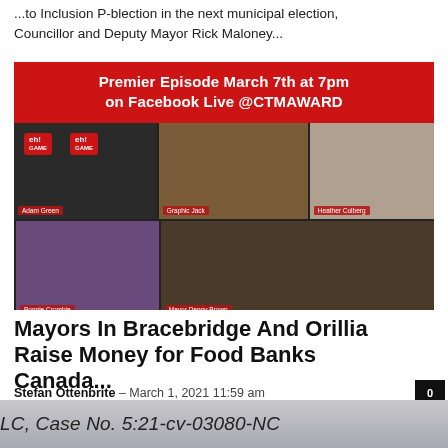... to Inclusion P-blection in the next municipal election, Councillor and Deputy Mayor Rick Maloney...
[Figure (screenshot): Screenshot of a video call with red banner reading 'Premier Episode March 7th at 7pm on Facebook Live @CTMAWARD'. Five participants visible in grid: Adam Green, Graphic Jack, Heather Colberg, Bonnie Crombie, Mayor Danny Brown. News badge visible bottom left.]
Mayors In Bracebridge And Orillia Raise Money for Food Banks Canada...
Stefan Ottenbrite - March 1, 2021 11:59 am
LC, Case No. 5:21-cv-03080-NC